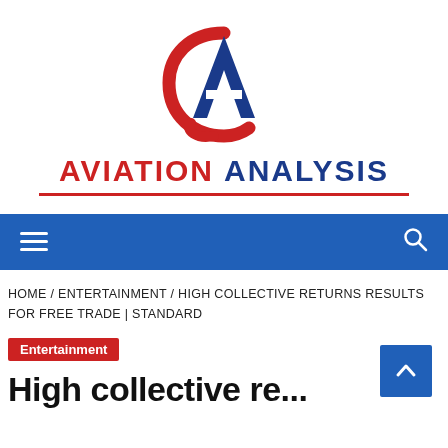[Figure (logo): Aviation Analysis logo: a stylized letter A in blue with a red circular swoosh, above the text AVIATION ANALYSIS in red and blue bold capitals with a red underline]
AVIATION ANALYSIS
[Figure (screenshot): Blue navigation bar with hamburger menu icon on left and search icon on right]
HOME / ENTERTAINMENT / HIGH COLLECTIVE RETURNS RESULTS FOR FREE TRADE | STANDARD
Entertainment
High collective returns results...